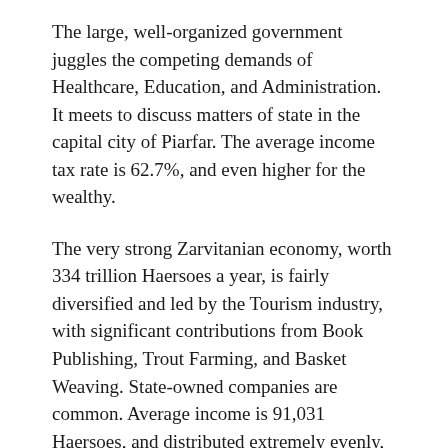The large, well-organized government juggles the competing demands of Healthcare, Education, and Administration. It meets to discuss matters of state in the capital city of Piarfar. The average income tax rate is 62.7%, and even higher for the wealthy.
The very strong Zarvitanian economy, worth 334 trillion Haersoes a year, is fairly diversified and led by the Tourism industry, with significant contributions from Book Publishing, Trout Farming, and Basket Weaving. State-owned companies are common. Average income is 91,031 Haersoes, and distributed extremely evenly, with little difference between the richest and poorest citizens.
Asking 'does my bum look big in this?' leads to 30 hours of self-esteem classes, a faint smell of body odour can be detected at several miles' distance from the National Science Park, the nation has nearly as many history museums as Zarvits, and military equipment stores have a tendency to go up in flames. Crime, especially youth-related, is totally